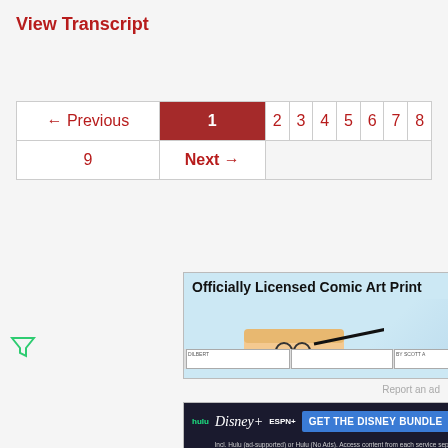View Transcript
| ← Previous | 1 | 2 | 3 | 4 | 5 | 6 | 7 | 8 |
| 9 | Next → |  |  |  |  |  |  |  |
[Figure (screenshot): Advertisement for Officially Licensed Comic Art Print showing a cartoon hand holding glasses]
Report an ad
[Figure (screenshot): Advertisement for Disney Bundle featuring Hulu, Disney+, ESPN+ logos with GET THE DISNEY BUNDLE button]